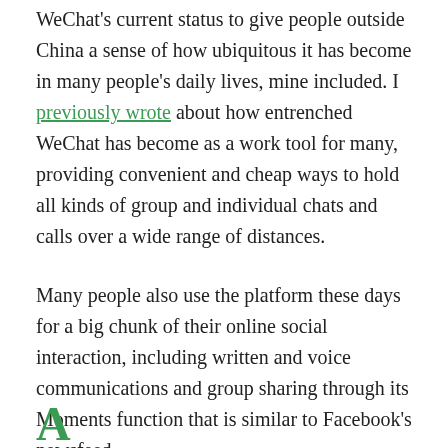more on that soon. But first I'll quickly summarize WeChat's current status to give people outside China a sense of how ubiquitous it has become in many people's daily lives, mine included. I previously wrote about how entrenched WeChat has become as a work tool for many, providing convenient and cheap ways to hold all kinds of group and individual chats and calls over a wide range of distances.
Many people also use the platform these days for a big chunk of their online social interaction, including written and voice communications and group sharing through its Moments function that is similar to Facebook's newsfeed.
A...